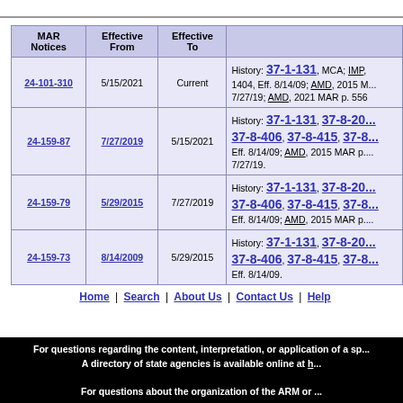| MAR Notices | Effective From | Effective To |  |
| --- | --- | --- | --- |
| 24-101-310 | 5/15/2021 | Current | History: 37-1-131, MCA; IMP, 1404, Eff. 8/14/09; AMD, 2015 M... 7/27/19; AMD, 2021 MAR p. 556 |
| 24-159-87 | 7/27/2019 | 5/15/2021 | History: 37-1-131, 37-8-20... 37-8-406, 37-8-415, 37-8... Eff. 8/14/09; AMD, 2015 MAR p.... 7/27/19. |
| 24-159-79 | 5/29/2015 | 7/27/2019 | History: 37-1-131, 37-8-20... 37-8-406, 37-8-415, 37-8... Eff. 8/14/09; AMD, 2015 MAR p.... |
| 24-159-73 | 8/14/2009 | 5/29/2015 | History: 37-1-131, 37-8-20... 37-8-406, 37-8-415, 37-8... Eff. 8/14/09. |
Home | Search | About Us | Contact Us | Help
For questions regarding the content, interpretation, or application of a sp... A directory of state agencies is available online at h... For questions about the organization of the ARM or ...